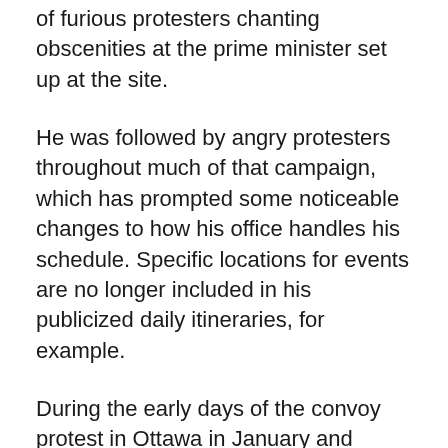of furious protesters chanting obscenities at the prime minister set up at the site.
He was followed by angry protesters throughout much of that campaign, which has prompted some noticeable changes to how his office handles his schedule. Specific locations for events are no longer included in his publicized daily itineraries, for example.
During the early days of the convoy protest in Ottawa in January and February, Trudeau and his family were evacuated from their home in the city for several days.
Other leaders, including NDP Leader Jagmeet Singh and Bloc Quebecois Leader Yves-Francois Blanchet, have indicated they received